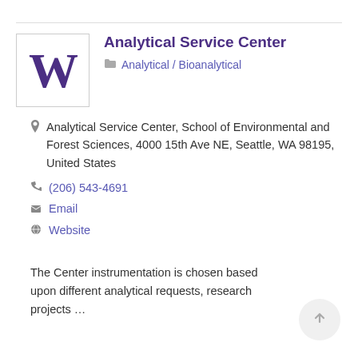[Figure (logo): University of Washington purple W logo in a bordered box]
Analytical Service Center
Analytical / Bioanalytical
Analytical Service Center, School of Environmental and Forest Sciences, 4000 15th Ave NE, Seattle, WA 98195, United States
(206) 543-4691
Email
Website
The Center instrumentation is chosen based upon different analytical requests, research projects …